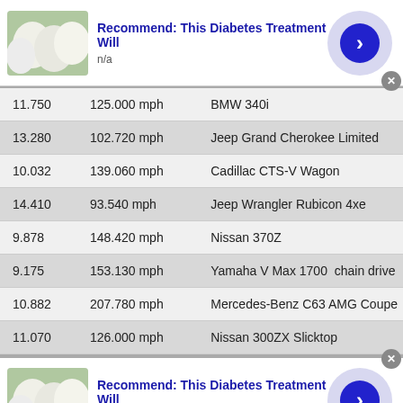[Figure (screenshot): Ad banner: image of white eggs on left, bold blue title 'Recommend: This Diabetes Treatment Will', subtitle 'n/a', lavender circle with blue arrow button on right, gray close X button.]
| 11.750 | 125.000 mph | BMW 340i |
| 13.280 | 102.720 mph | Jeep Grand Cherokee Limited |
| 10.032 | 139.060 mph | Cadillac CTS-V Wagon |
| 14.410 | 93.540 mph | Jeep Wrangler Rubicon 4xe |
| 9.878 | 148.420 mph | Nissan 370Z |
| 9.175 | 153.130 mph | Yamaha V Max 1700   chain drive |
| 10.882 | 207.780 mph | Mercedes-Benz C63 AMG Coupe |
| 11.070 | 126.000 mph | Nissan 300ZX Slicktop |
[Figure (screenshot): Ad banner (bottom): same as top — image of white eggs, bold blue title 'Recommend: This Diabetes Treatment Will', subtitle 'n/a', lavender circle with blue arrow button, gray close X button.]